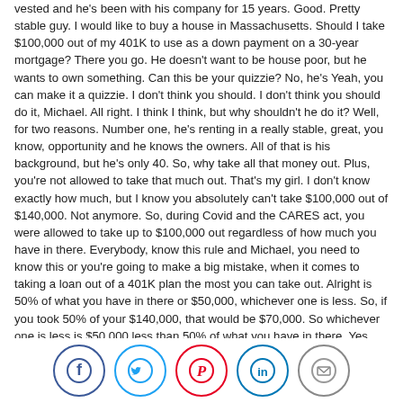vested and he's been with his company for 15 years. Good. Pretty stable guy. I would like to buy a house in Massachusetts. Should I take $100,000 out of my 401K to use as a down payment on a 30-year mortgage? There you go. He doesn't want to be house poor, but he wants to own something. Can this be your quizzie? No, he's Yeah, you can make it a quizzie. I don't think you should. I don't think you should do it, Michael. All right. I think I think, but why shouldn't he do it? Well, for two reasons. Number one, he's renting in a really stable, great, you know, opportunity and he knows the owners. All of that is his background, but he's only 40. So, why take all that money out. Plus, you're not allowed to take that much out. That's my girl. I don't know exactly how much, but I know you absolutely can't take $100,000 out of $140,000. Not anymore. So, during Covid and the CARES act, you were allowed to take up to $100,000 out regardless of how much you have in there. Everybody, know this rule and Michael, you need to know this or you're going to make a big mistake, when it comes to taking a loan out of a 401K plan the most you can take out. Alright is 50% of what you have in there or $50,000, whichever one is less. So, if you took 50% of your $140,000, that would be $70,000. So whichever one is less is $50,000 less than 50% of what you have in there. Yes. So, the maximum that you could take out as a loan from your 401K is only $50,000. So, you can't do what you want to do. It's just that simple. Nor can you
[Figure (infographic): Social media sharing icons: Facebook (dark blue), Twitter (light blue), Pinterest (red), LinkedIn (blue), Email (gray)]